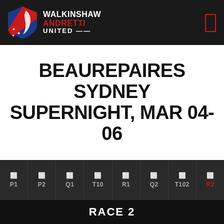WALKINSHAW ANDRETTI UNITED
BEAUREPAIRES SYDNEY SUPERNIGHT, MAR 04-06
P1 | P2 | Q1 | T10 | R1 | Q2 | T102 | R2
RACE 2